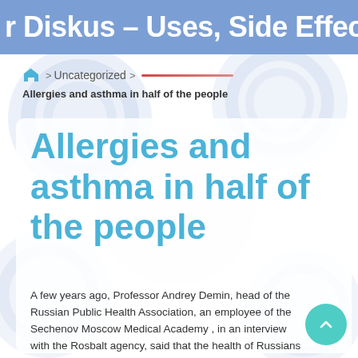r Diskus – Uses, Side Effects, Intera
Home > Uncategorized >
Allergies and asthma in half of the people
Allergies and asthma in half of the people
A few years ago, Professor Andrey Demin, head of the Russian Public Health Association, an employee of the Sechenov Moscow Medical Academy , in an interview with the Rosbalt agency, said that the health of Russians